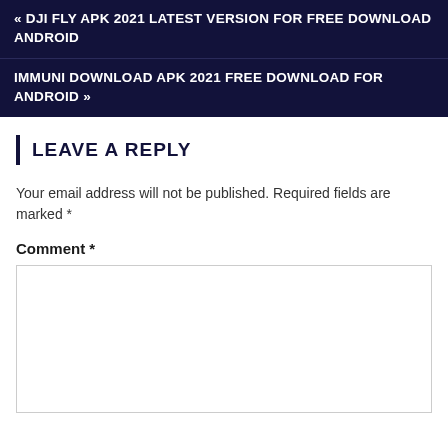« DJI FLY APK 2021 LATEST VERSION FOR FREE DOWNLOAD ANDROID
IMMUNI DOWNLOAD APK 2021 FREE DOWNLOAD FOR ANDROID »
LEAVE A REPLY
Your email address will not be published. Required fields are marked *
Comment *